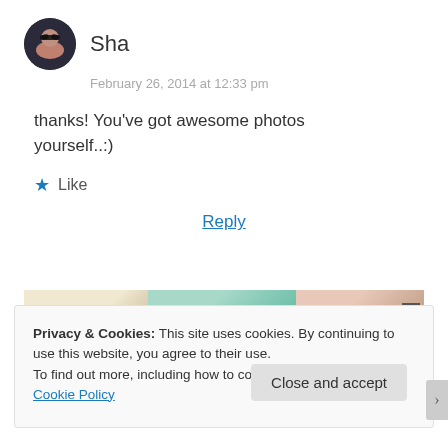[Figure (photo): Round avatar photo of user Sha, showing a person with sunglasses]
Sha
February 26, 2014 at 12:33 pm
thanks! You've got awesome photos yourself..:)
★ Like
Reply
[Figure (other): Advertisement banner with colorful segments]
REPORT THIS AD
Privacy & Cookies: This site uses cookies. By continuing to use this website, you agree to their use.
To find out more, including how to control cookies, see here:
Cookie Policy
Close and accept